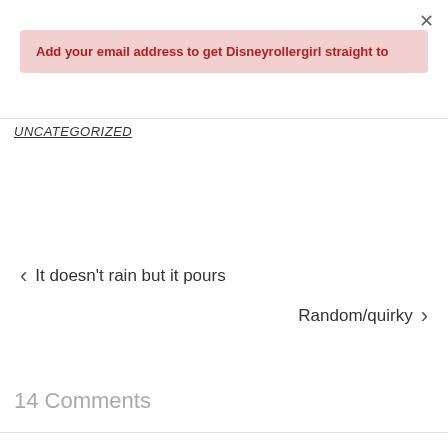×
Add your email address to get Disneyrollergirl straight to
UNCATEGORIZED
‹ It doesn't rain but it pours
Random/quirky ›
14 Comments